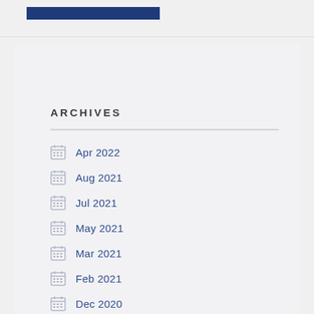ARCHIVES
Apr 2022
Aug 2021
Jul 2021
May 2021
Mar 2021
Feb 2021
Dec 2020
Nov 2020
Jul 2020
Jun 2020